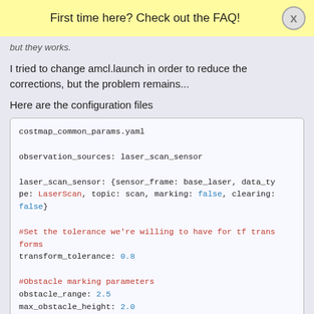First time here? Check out the FAQ!
but they works.
I tried to change amcl.launch in order to reduce the corrections, but the problem remains...
Here are the configuration files
costmap_common_params.yaml

observation_sources: laser_scan_sensor

laser_scan_sensor: {sensor_frame: base_laser, data_type: LaserScan, topic: scan, marking: false, clearing: false}

#Set the tolerance we're willing to have for tf transforms
transform_tolerance: 0.8

#Obstacle marking parameters
obstacle_range: 2.5
max_obstacle_height: 2.0
raytrace_range: 3.0